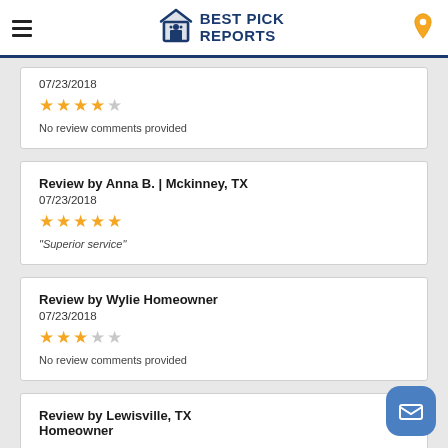Best Pick Reports
07/23/2018
[Figure (other): 4 filled orange stars out of 5]
No review comments provided
Review by Anna B. | Mckinney, TX
07/23/2018
[Figure (other): 5 filled orange stars out of 5]
"Superior service"
Review by Wylie Homeowner
07/23/2018
[Figure (other): 3 filled orange stars out of 5]
No review comments provided
Review by Lewisville, TX Homeowner